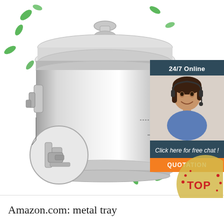[Figure (photo): Product photo of a stainless steel insulated food container/barrel with locking clamps and a glass lid. Shows cross-section layers (dark gray, orange, silver) indicating insulation. A close-up inset circle shows the locking mechanism detail. Green leaf decorations scattered around. White background.]
[Figure (infographic): Sidebar panel with dark teal background showing '24/7 Online' text, a customer service agent (woman with headset), 'Click here for free chat!' text in italic, and an orange 'QUOTATION' button.]
[Figure (infographic): Circular gold/yellow badge in bottom right with 'TOP' text in red with decorative dots, partially visible.]
Amazon.com: metal tray